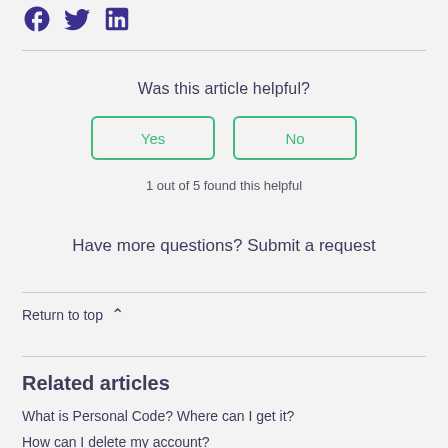[Figure (other): Social media icons: Facebook, Twitter, LinkedIn in dark purple]
Was this article helpful?
Yes | No (buttons)
1 out of 5 found this helpful
Have more questions? Submit a request
Return to top ^
Related articles
What is Personal Code? Where can I get it?
How can I delete my account?